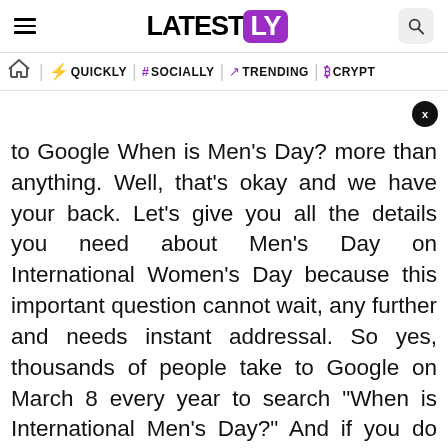LATESTLY
QUICKLY | # SOCIALLY | TRENDING | CRYPTO
to Google When is Men's Day? more than anything. Well, that's okay and we have your back. Let's give you all the details you need about Men's Day on International Women's Day because this important question cannot wait, any further and needs instant addressal. So yes, thousands of people take to Google on March 8 every year to search "When is International Men's Day?" And if you do not believe us, you can check out these statistics presented by Google. Without further